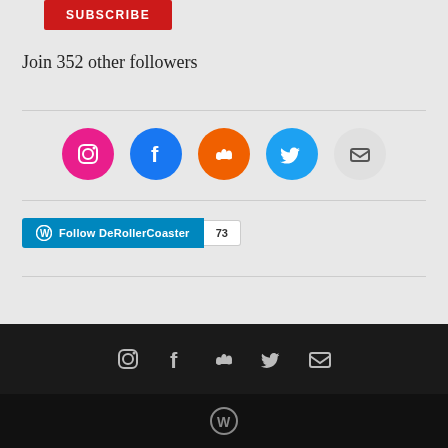[Figure (other): Red SUBSCRIBE button at top]
Join 352 other followers
[Figure (other): Row of social media icon circles: Instagram (pink), Facebook (blue), SoundCloud (orange), Twitter (light blue), Email (grey)]
[Figure (other): WordPress Follow DeRollerCoaster button with count 73]
[Figure (other): BUY ME A COFFEE button in orange-red rounded pill]
[Figure (other): Dark footer bar with social media icons: Instagram, Facebook, SoundCloud, Twitter, Email]
[Figure (other): Black bottom bar with WordPress icon]